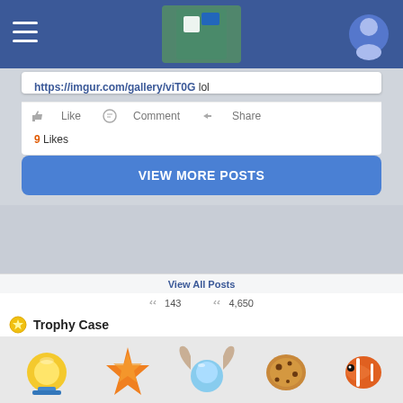[Figure (screenshot): Mobile app navigation bar with hamburger menu icon on left, globe/Minecraft-style icon in center, and user profile icon on right, dark blue background]
https://imgur.com/gallery/viT0G lol
Like  Comment  Share
9 Likes
VIEW MORE POSTS
View All Posts
143  4,650
Trophy Case
[Figure (screenshot): Trophy case grid showing pixel art icons: gold medal/trophy, starfish, winged crystal ball, chocolate chip cookie, clownfish, green character, earth emoji, fluffy creature, bunny, bee]